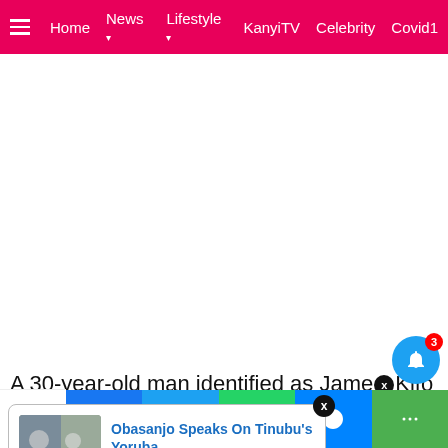Home  News  Lifestyle  KanyiTV  Celebrity  Covid1
[Figure (other): Advertisement / blank white area below navigation bar]
A 30-year-old man identified as James Kifo Muriuki [...]ing his wife [...]glue using
[Figure (screenshot): Popup related article card: 'Obasanjo Speaks On Tinubu's Yoruba' with thumbnail image, 38 minutes ago]
10 Shares
[Figure (other): Social share bar with Facebook, Twitter, WhatsApp, Messenger, and more buttons at bottom]